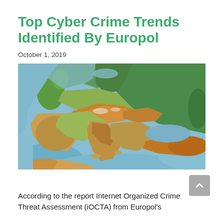Top Cyber Crime Trends Identified By Europol
October 1, 2019
[Figure (map): Topographic relief map of Europe showing elevation gradients in blues (sea/lowland), greens (plains/forests), yellows and browns (hills/mountains), indicating the European continent and surrounding regions.]
According to the report Internet Organized Crime Threat Assessment (iOCTA) from Europol's